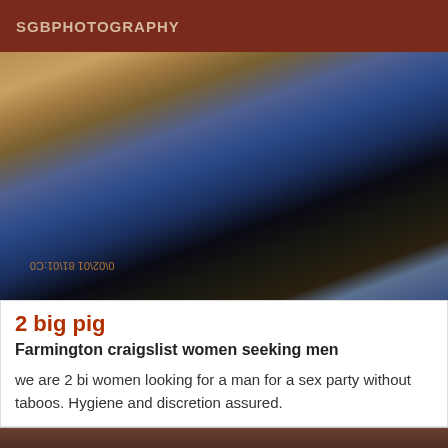SGBPHOTOGRAPHY
[Figure (photo): Two women at a party, one wearing a blue dress and one in a black outfit, with leopard print heels visible. Timestamp watermark visible.]
2 big pig
Farmington craigslist women seeking men
we are 2 bi women looking for a man for a sex party without taboos. Hygiene and discretion assured.
[Figure (photo): Close-up of a person's face/hair, partially visible, with a reversed watermark text at the bottom.]